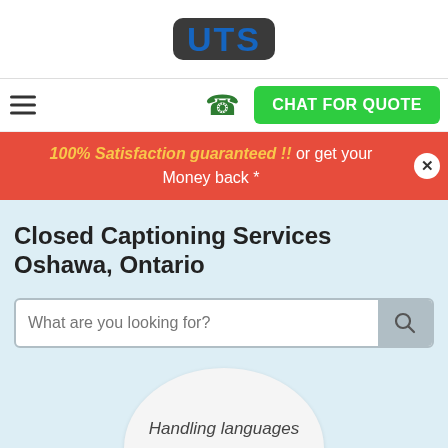[Figure (logo): UTS logo: dark rounded rectangle containing blue letters 'UTS' in bold]
CHAT FOR QUOTE
100% Satisfaction guaranteed !! or get your Money back *
Closed Captioning Services Oshawa, Ontario
What are you looking for?
Handling languages 100+